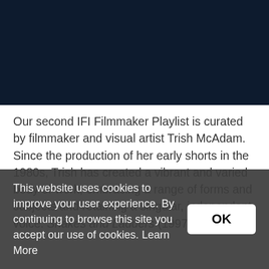[Figure (screenshot): Dark navy blue image area at top of page, partially showing a video or media interface element]
Our second IFI Filmmaker Playlist is curated by filmmaker and visual artist Trish McAdam. Since the production of her early shorts in the 1980s, Trish has created a vibrant and varied body of work, embracing a range of forms and subjects and retaining a singular, independent voice. Snakes and Ladders (1997), her debut
This website uses cookies to improve your user experience. By continuing to browse this site you accept our use of cookies. Learn More